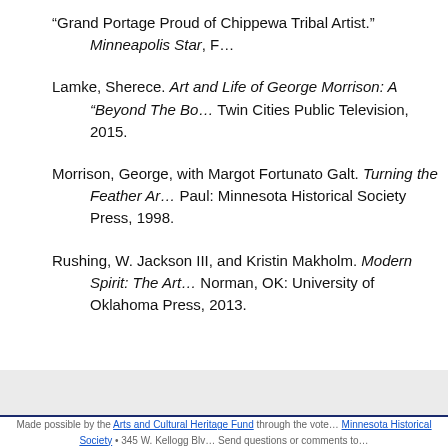“Grand Portage Proud of Chippewa Tribal Artist.” Minneapolis Star, F…
Lamke, Sherece. Art and Life of George Morrison: A “Beyond The Bo… Twin Cities Public Television, 2015.
Morrison, George, with Margot Fortunato Galt. Turning the Feather Ar… Paul: Minnesota Historical Society Press, 1998.
Rushing, W. Jackson III, and Kristin Makholm. Modern Spirit: The Art… Norman, OK: University of Oklahoma Press, 2013.
Made possible by the Arts and Cultural Heritage Fund through the vote… Minnesota Historical Society • 345 W. Kellogg Blv… Send questions or comments to…